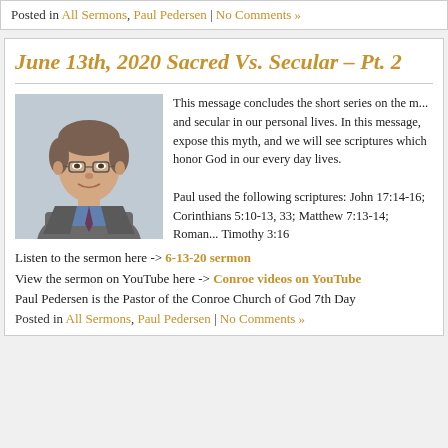Posted in All Sermons, Paul Pedersen | No Comments »
June 13th, 2020 Sacred Vs. Secular – Pt. 2
[Figure (photo): Headshot photo of Paul Pedersen, a middle-aged man with glasses, wearing a grey suit and blue shirt with tie]
This message concludes the short series on the m... and secular in our personal lives. In this message, expose this myth, and we will see scriptures which honor God in our every day lives.
Paul used the following scriptures: John 17:14-16; Corinthians 5:10-13, 33; Matthew 7:13-14; Roman... Timothy 3:16
Listen to the sermon here -> 6-13-20 sermon
View the sermon on YouTube here -> Conroe videos on YouTube
Paul Pedersen is the Pastor of the Conroe Church of God 7th Day
Posted in All Sermons, Paul Pedersen | No Comments »